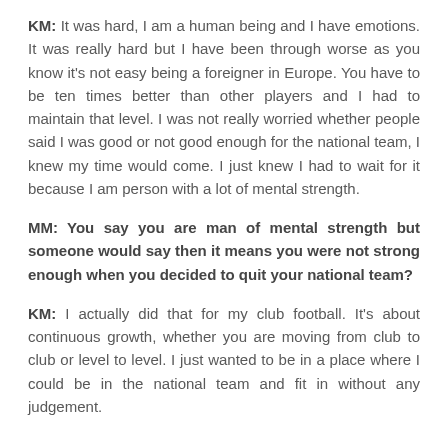KM: It was hard, I am a human being and I have emotions. It was really hard but I have been through worse as you know it's not easy being a foreigner in Europe. You have to be ten times better than other players and I had to maintain that level. I was not really worried whether people said I was good or not good enough for the national team, I knew my time would come. I just knew I had to wait for it because I am person with a lot of mental strength.
MM: You say you are man of mental strength but someone would say then it means you were not strong enough when you decided to quit your national team?
KM: I actually did that for my club football. It's about continuous growth, whether you are moving from club to club or level to level. I just wanted to be in a place where I could be in the national team and fit in without any judgement.